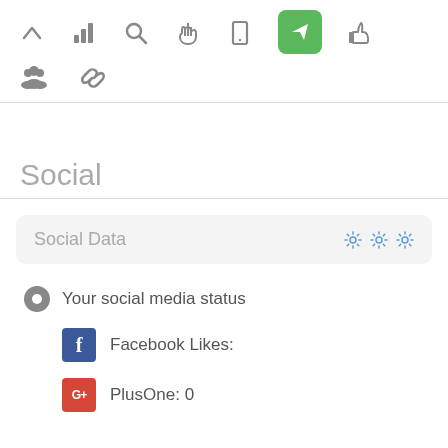[Figure (screenshot): Toolbar row 1 with navigation icons: up arrow, bar chart, search, hand/pointer, tablet, green rocket/send button (active), thumbs up]
[Figure (screenshot): Toolbar row 2 with icons: people/group, chain/link]
Social
[Figure (screenshot): Social Data panel header with gear icons]
Your social media status
Facebook Likes:
PlusOne: 0